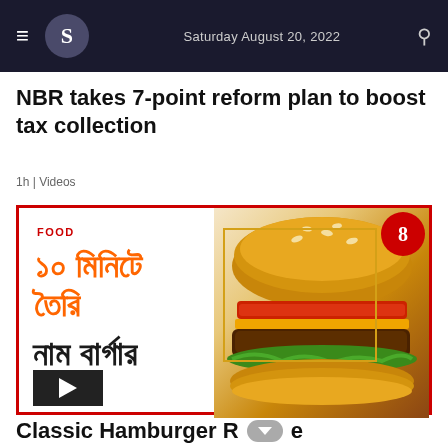Saturday August 20, 2022
NBR takes 7-point reform plan to boost tax collection
1h | Videos
[Figure (screenshot): Food video thumbnail showing Bengali text '১০ মিনিটে তৈরি নাম বার্গার' (10 minute burger recipe) with a classic hamburger image on the right, red border frame, FOOD label, play button, and Business Standard logo]
Classic Hamburger Recipe